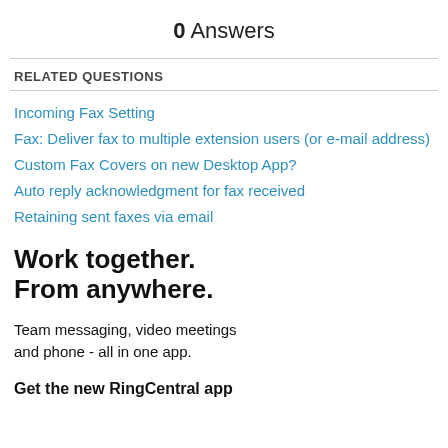0 Answers
RELATED QUESTIONS
Incoming Fax Setting
Fax: Deliver fax to multiple extension users (or e-mail address)
Custom Fax Covers on new Desktop App?
Auto reply acknowledgment for fax received
Retaining sent faxes via email
Work together.
From anywhere.
Team messaging, video meetings and phone - all in one app.
Get the new RingCentral app